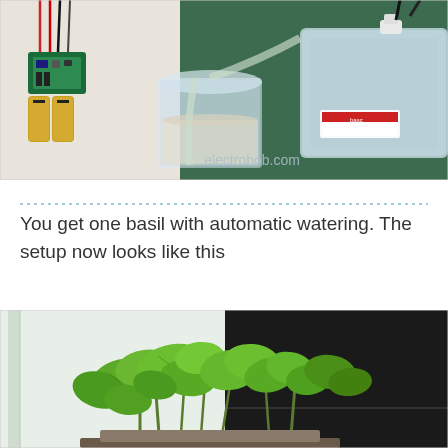[Figure (photo): Electronics setup with Arduino/microcontroller board with batteries, a glass jar with a tube, and a clear plastic container on a green cutting mat. Watermark reads electrobob.com]
You get one basil with automatic watering. The setup now looks like this
[Figure (photo): Green basil plant growing in a pot, photographed against a half-light, half-dark background]